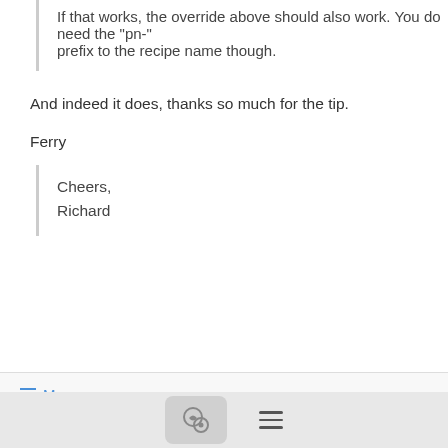If that works, the override above should also work. You do need the "pn-" prefix to the recipe name though.
And indeed it does, thanks so much for the tip.
Ferry
Cheers,
Richard
More
Gmane Admin
6/05/21